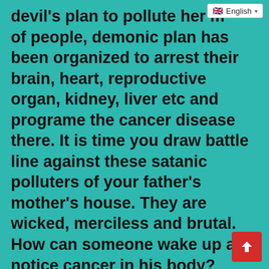🇬🇧 English ▾
devil's plan to pollute her mind of people, demonic plan has been organized to arrest their brain, heart, reproductive organ, kidney, liver etc and programe the cancer disease there. It is time you draw battle line against these satanic polluters of your father's mother's house. They are wicked, merciless and brutal. How can someone wake up and notice cancer in his body?
Divine healing from cancer are the full demonstration of the power of God. Jesus says, for His stripes, you are healed from that cancerous cell troubling your body organs. For example, if you are reading this and you notice that your friend, father, mother or relative is at